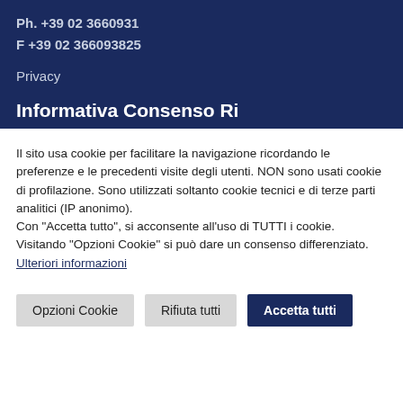Ph. +39 02 3660931
F +39 02 366093825
Privacy
Informativa Consenso Ri...
Il sito usa cookie per facilitare la navigazione ricordando le preferenze e le precedenti visite degli utenti. NON sono usati cookie di profilazione. Sono utilizzati soltanto cookie tecnici e di terze parti analitici (IP anonimo).
Con "Accetta tutto", si acconsente all'uso di TUTTI i cookie. Visitando "Opzioni Cookie" si può dare un consenso differenziato.
Ulteriori informazioni
Opzioni Cookie
Rifiuta tutti
Accetta tutti